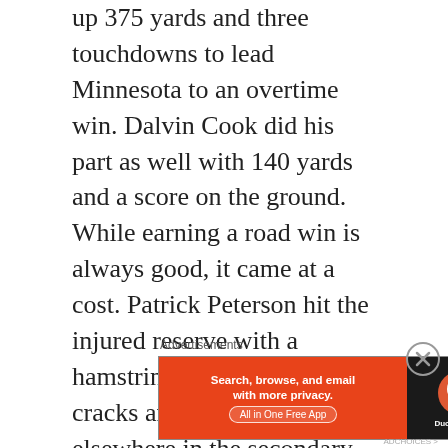up 375 yards and three touchdowns to lead Minnesota to an overtime win. Dalvin Cook did his part as well with 140 yards and a score on the ground. While earning a road win is always good, it came at a cost. Patrick Peterson hit the injured reserve with a hamstring injury and the cracks are starting to show elsewhere in the secondary. This game could have gone very differently if pretty much every Panthers receiver managed to catch passes. Robby Anderson, D.J. Moore and Chuba Hubbard all struggled to haul in Sam Darnold's throws, which certainly helped the Vikings out. A bye week to work on defensive improvements
Advertisements
[Figure (other): DuckDuckGo advertisement banner: orange left section with text 'Search, browse, and email with more privacy. All in One Free App', dark right section with DuckDuckGo logo]